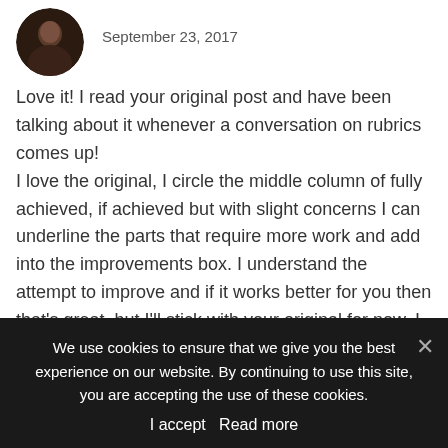[Figure (photo): Circular avatar photo of a person with dark background]
September 23, 2017
Love it! I read your original post and have been talking about it whenever a conversation on rubrics comes up!
I love the original, I circle the middle column of fully achieved, if achieved but with slight concerns I can underline the parts that require more work and add into the improvements box. I understand the attempt to improve and if it works better for you then that’s great, but I’ll stick with your original for now, I am still very much in love with it!
We use cookies to ensure that we give you the best experience on our website. By continuing to use this site, you are accepting the use of these cookies.
I accept  Read more